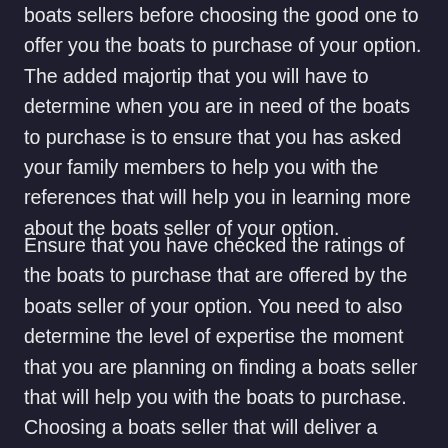boats sellers before choosing the good one to offer you the boats to purchase of your option. The added majortip that you will have to determine when you are in need of the boats to purchase is to ensure that you has asked your family members to help you with the references that will help you in learning more about the boats seller of your option.
Ensure that you have checked the ratings of the boats to purchase that are offered by the boats seller of your option. You need to also determine the level of expertise the moment that you are planning on finding a boats seller that will help you with the boats to purchase. Choosing a boats seller that will deliver a high-quality boats to purchase. The number of years in business should also be the added majortip that you will have to determine when you are in need of the boats to